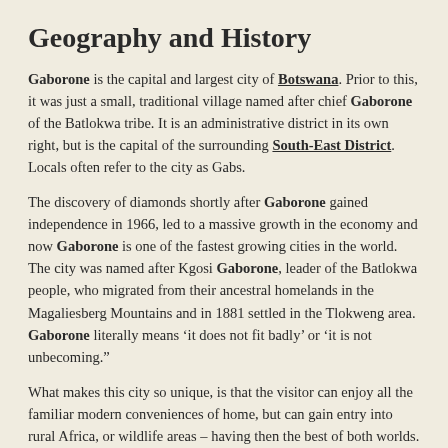Geography and History
Gaborone is the capital and largest city of Botswana. Prior to this, it was just a small, traditional village named after chief Gaborone of the Batlokwa tribe. It is an administrative district in its own right, but is the capital of the surrounding South-East District. Locals often refer to the city as Gabs.
The discovery of diamonds shortly after Gaborone gained independence in 1966, led to a massive growth in the economy and now Gaborone is one of the fastest growing cities in the world. The city was named after Kgosi Gaborone, leader of the Batlokwa people, who migrated from their ancestral homelands in the Magaliesberg Mountains and in 1881 settled in the Tlokweng area. Gaborone literally means ‘it does not fit badly’ or ‘it is not unbecoming.”
What makes this city so unique, is that the visitor can enjoy all the familiar modern conveniences of home, but can gain entry into rural Africa, or wildlife areas – having then the best of both worlds.
Accommodation